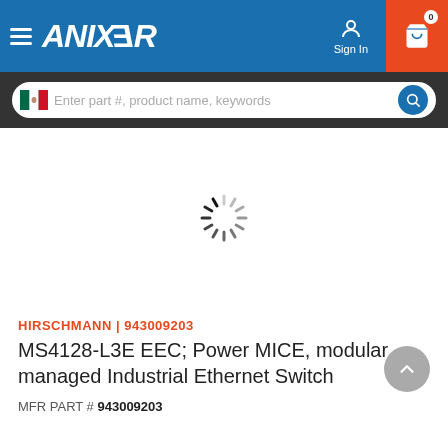[Figure (screenshot): Anixter website header with navigation bar (blue), hamburger menu, Anixter logo in white italic text, Sign In icon, and shopping cart icon with badge showing 0 on orange background]
[Figure (screenshot): Search bar on dark background with Mexico flag icon, placeholder text 'Enter part #, product name, keywords', and blue circular search button]
[Figure (other): Loading spinner (circular spinning animation) in center of white content area]
HIRSCHMANN | 943009203
MS4128-L3E EEC; Power MICE, modular, managed Industrial Ethernet Switch
MFR PART # 943009203